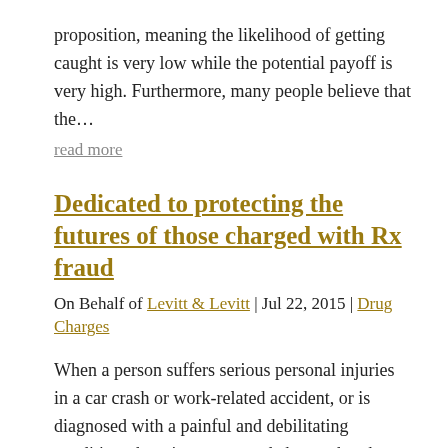proposition, meaning the likelihood of getting caught is very low while the potential payoff is very high. Furthermore, many people believe that the…
read more
Dedicated to protecting the futures of those charged with Rx fraud
On Behalf of Levitt & Levitt | Jul 22, 2015 | Drug Charges
When a person suffers serious personal injuries in a car crash or work-related accident, or is diagnosed with a painful and debilitating condition, there is a very good chance that they will be prescribed some sort of painkiller to help manage the pain they are…